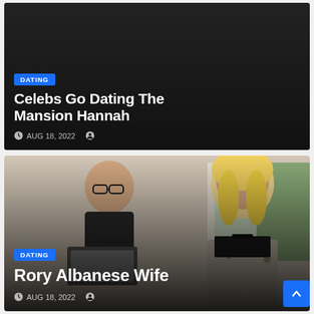[Figure (screenshot): Dark background article card with DATING badge, title 'Celebs Go Dating The Mansion Hannah', date AUG 18 2022 and author icon]
Celebs Go Dating The Mansion Hannah
AUG 18, 2022
[Figure (photo): Photo of a man with glasses and a woman with blonde hair, article card with DATING badge, title 'Rory Albanese Wife', date AUG 18 2022]
Rory Albanese Wife
AUG 18, 2022